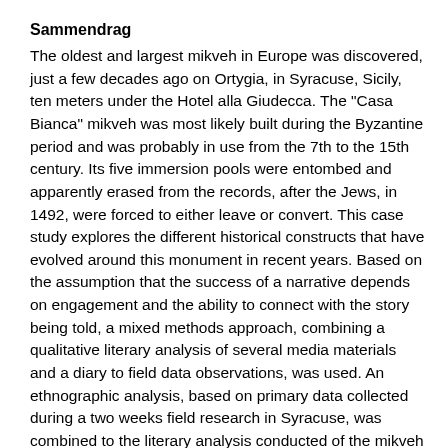Sammendrag
The oldest and largest mikveh in Europe was discovered, just a few decades ago on Ortygia, in Syracuse, Sicily, ten meters under the Hotel alla Giudecca. The "Casa Bianca" mikveh was most likely built during the Byzantine period and was probably in use from the 7th to the 15th century. Its five immersion pools were entombed and apparently erased from the records, after the Jews, in 1492, were forced to either leave or convert. This case study explores the different historical constructs that have evolved around this monument in recent years. Based on the assumption that the success of a narrative depends on engagement and the ability to connect with the story being told, a mixed methods approach, combining a qualitative literary analysis of several media materials and a diary to field data observations, was used. An ethnographic analysis, based on primary data collected during a two weeks field research in Syracuse, was combined to the literary analysis conducted of the mikveh owner’s diary, as well as three mediated Jewish articles, in order to trace and remark upon the politics of representation currently active in the area as well as develop a better understanding of the role this monument holds in sparking the individual and collective imagination. The explored narratives